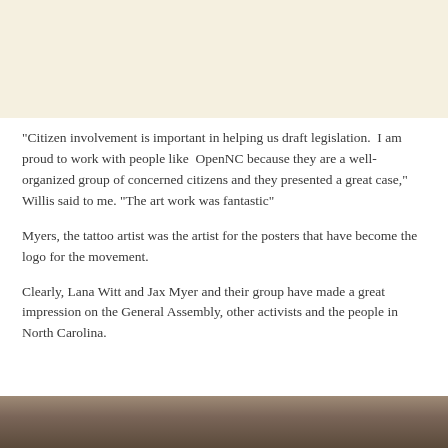[Figure (photo): Beige/cream colored background area at top of page, likely cropped photo or banner]
“Citizen involvement is important in helping us draft legislation.  I am proud to work with people like  OpenNC because they are a well-organized group of concerned citizens and they presented a great case,” Willis said to me. “The art work was fantastic”
Myers, the tattoo artist was the artist for the posters that have become the logo for the movement.
Clearly, Lana Witt and Jax Myer and their group have made a great impression on the General Assembly, other activists and the people in North Carolina.
[Figure (photo): Bottom portion of a photograph showing people, cropped at bottom of page]